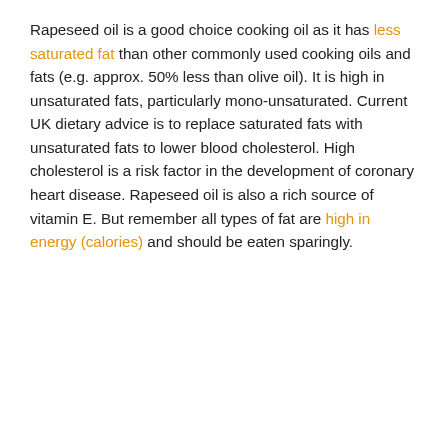Rapeseed oil is a good choice cooking oil as it has less saturated fat than other commonly used cooking oils and fats (e.g. approx. 50% less than olive oil). It is high in unsaturated fats, particularly mono-unsaturated. Current UK dietary advice is to replace saturated fats with unsaturated fats to lower blood cholesterol. High cholesterol is a risk factor in the development of coronary heart disease. Rapeseed oil is also a rich source of vitamin E. But remember all types of fat are high in energy (calories) and should be eaten sparingly.
[Figure (infographic): Navigation bar with 'Back to FAQs' button and 'Share this page' button in dark grey, followed by a social sharing row with icons for Facebook (blue), Twitter (light blue), Pinterest (red), Email (orange/yellow), and WhatsApp (green) on a dark grey background.]